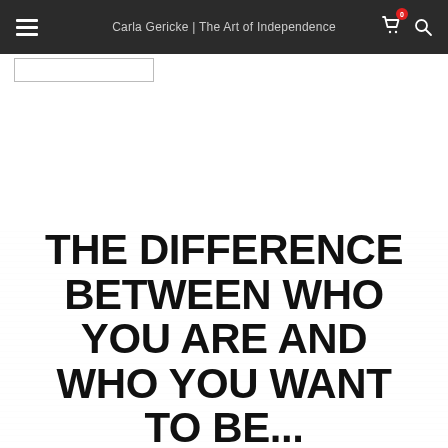Carla Gericke | The Art of Independence
[Figure (illustration): Motivational quote image with bold black uppercase text on white background reading: THE DIFFERENCE BETWEEN WHO YOU ARE AND WHO YOU WANT TO BE... IS WHAT YOU DO]
THE DIFFERENCE BETWEEN WHO YOU ARE AND WHO YOU WANT TO BE... IS WHAT YOU DO